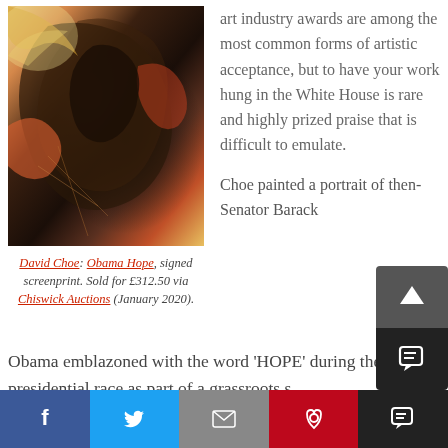[Figure (illustration): Abstract painted portrait artwork showing a face in profile with dark, mixed-media painterly style with orange and earth tones - David Choe Obama Hope screenprint]
David Choe: Obama Hope, signed screenprint. Sold for £312.50 via Chiswick Auctions (January 2020).
art industry awards are among the most common forms of artistic acceptance, but to have your work hung in the White House is rare and highly prized praise that is difficult to emulate.
Choe painted a portrait of then-Senator Barack Obama emblazoned with the word 'HOPE' during the 2008 presidential race as part of a grassroots s